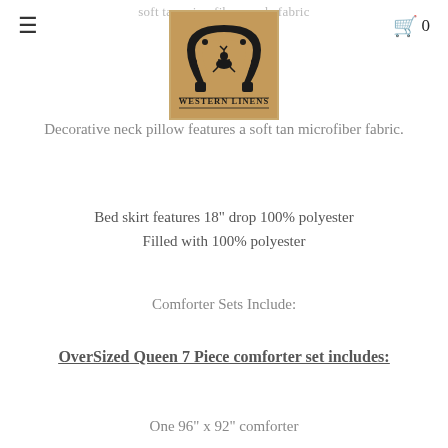soft tan microfiber suede fabric
[Figure (logo): Western Linens logo: horseshoe with cowboy on horse silhouette, text 'WESTERN LINENS']
Decorative neck pillow features a soft tan microfiber fabric.
Bed skirt features 18" drop 100% polyester Filled with 100% polyester
Comforter Sets Include:
OverSized Queen 7 Piece comforter set includes:
One 96" x 92" comforter